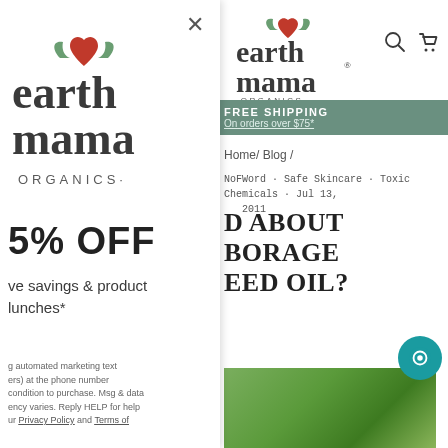[Figure (screenshot): Earth Mama Organics modal popup overlay on top of website. Left side shows modal with close button (×), Earth Mama Organics logo, '5% OFF' offer text, 'exclusive savings & product launches*' text, legal disclaimer text with Privacy Policy and Terms of links. Right side shows Earth Mama Organics website with logo, search and cart icons, green FREE SHIPPING banner ('On orders over $75*'), breadcrumb navigation (Home / Blog /), blog post meta tags (NoFWord · Safe Skincare · Toxic Chemicals · Jul 13, 2011), blog post title 'D ABOUT BORAGE EED OIL?' (cropped), teal chat bubble icon, and green blurred image at bottom.]